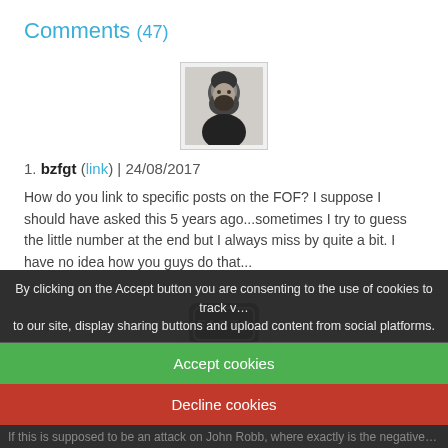Comments (47)
[Figure (photo): Avatar photo of user bzfgt — black and white photo of a bearded man]
1. bzfgt (link) | 24/08/2017
How do you link to specific posts on the FOF? I suppose I should have asked this 5 years ago...sometimes I try to guess the little number at the end but I always miss by quite a bit. I have no idea how you guys do that...
[Figure (logo): FACTS logo — speech bubble with the word FACTS inside]
2. dannyno | 24/08/2017
By clicking on the Accept button you are consenting to the use of cookies to track visits to our site, display sharing buttons and upload content from social platforms.
Accept cookies
Decline cookies
If this is supposed to be an attack on John Robb, where exactly is the negative…